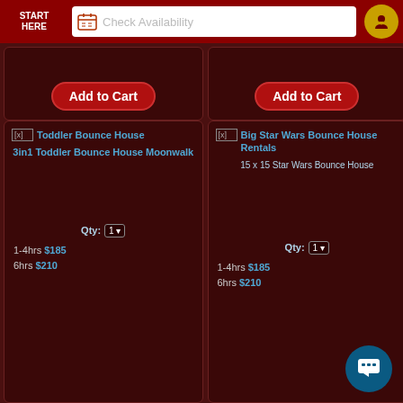START HERE | Check Availability
[Figure (screenshot): Two product cards partially visible at top, each with a red 'Add to Cart' button]
[Figure (screenshot): Product card for 3in1 Toddler Bounce House Moonwalk with image placeholder, Qty selector, 1-4hrs $185, 6hrs $210]
[Figure (screenshot): Product card for 15 x 15 Star Wars Bounce House with image placeholder, Qty selector, 1-4hrs $185, 6hrs $210]